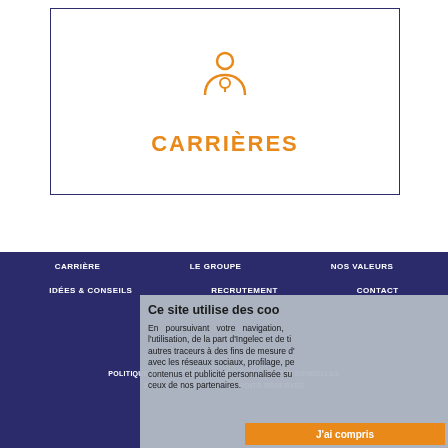[Figure (illustration): Person/user icon in orange inside a bordered card]
CARRIÈRES
CARRIÈRE   LE GROUPE   NOS VALEURS
IDÉES & CONSEILS   RECRUTEMENT   CONTACT
[Figure (logo): Social media icons: LinkedIn, Facebook, Instagram in white circles]
POLITIQUE DE CONFIDENTIALITÉ   DONNÉES PERSONNELLES
2021 © INGELEC - TOUS DROITS RÉSERVÉS
Ce site utilise des coo
En poursuivant votre navigation,
l'utilisation, de la part d'Ingelec et de ti
autres traceurs à des fins de mesure d'
avec les réseaux sociaux, profilage, pe
contenus et publicité personnalisée su
ceux de nos partenaires.
J'ai compris